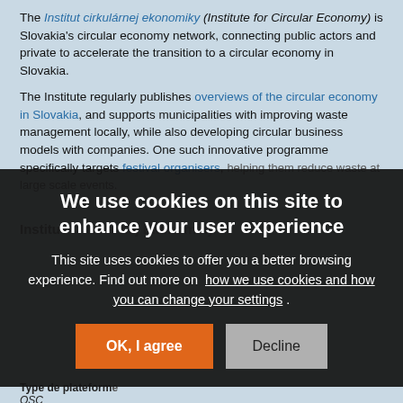The Institut cirkulárnej ekonomiky (Institute for Circular Economy) is Slovakia's circular economy network, connecting public actors and private to accelerate the transition to a circular economy in Slovakia.
The Institute regularly publishes overviews of the circular economy in Slovakia, and supports municipalities with improving waste management locally, while also developing circular business models with companies. One such innovative programme specifically targets festival organisers, helping them reduce waste at large scale events.
We use cookies on this site to enhance your user experience

This site uses cookies to offer you a better browsing experience. Find out more on how we use cookies and how you can change your settings .
Type de plateforme
OSC
Communauté de savoir
Plateforme ou réseau de nature régionale ou nationale